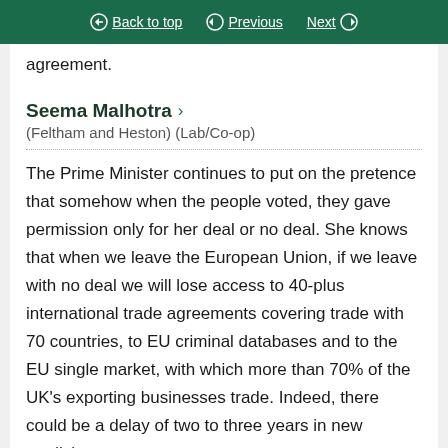Back to top | Previous | Next
agreement.
Seema Malhotra
(Feltham and Heston) (Lab/Co-op)
The Prime Minister continues to put on the pretence that somehow when the people voted, they gave permission only for her deal or no deal. She knows that when we leave the European Union, if we leave with no deal we will lose access to 40-plus international trade agreements covering trade with 70 countries, to EU criminal databases and to the EU single market, with which more than 70% of the UK's exporting businesses trade. Indeed, there could be a delay of two to three years in new medicines